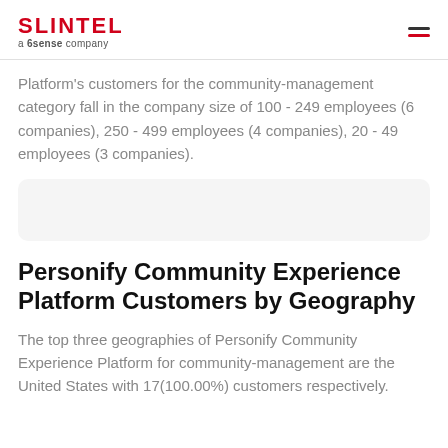SLINTEL a 6sense company
Platform's customers for the community-management category fall in the company size of 100 - 249 employees (6 companies), 250 - 499 employees (4 companies), 20 - 49 employees (3 companies).
[Figure (other): Empty light gray rounded rectangle placeholder for a chart]
Personify Community Experience Platform Customers by Geography
The top three geographies of Personify Community Experience Platform for community-management are the United States with 17(100.00%) customers respectively.